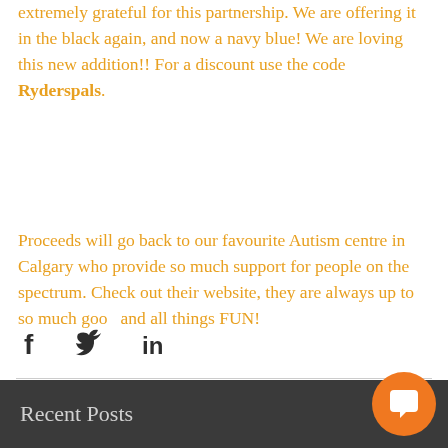extremely grateful for this partnership. We are offering it in the black again, and now a navy blue! We are loving this new addition!! For a discount use the code Ryderspals.
Proceeds will go back to our favourite Autism centre in Calgary who provide so much support for people on the spectrum. Check out their website, they are always up to so much good and all things FUN!
[Figure (infographic): Social share icons: Facebook (f), Twitter (bird), LinkedIn (in)]
[Figure (infographic): Back to top button: dark circular button with up chevron arrow]
[Figure (infographic): Heart/like icon outline in red/pink]
Recent Posts
[Figure (infographic): Orange circular chat/comment bubble button]